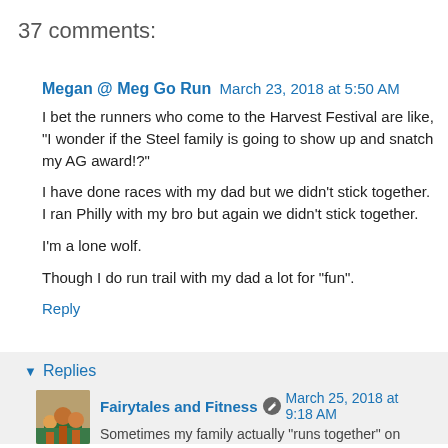37 comments:
Megan @ Meg Go Run March 23, 2018 at 5:50 AM
I bet the runners who come to the Harvest Festival are like, "I wonder if the Steel family is going to show up and snatch my AG award!?"
I have done races with my dad but we didn't stick together. I ran Philly with my bro but again we didn't stick together.
I'm a lone wolf.
Though I do run trail with my dad a lot for "fun".
Reply
▾ Replies
Fairytales and Fitness March 25, 2018 at 9:18 AM
Sometimes my family actually "runs together" on